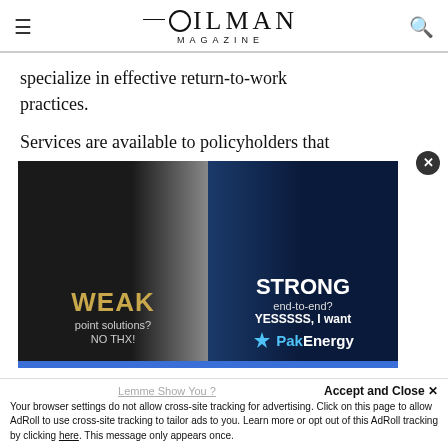OILMAN MAGAZINE
specialize in effective return-to-work practices.
Services are available to policyholders that
[Figure (advertisement): PakEnergy advertisement showing a split image: left side shows a white/light animal with text 'WEAK point solutions? NO THX!' in gold, right side shows a blue wolf with text 'STRONG end-to-end? YESSSSS, I want' and PakEnergy logo.]
Your browser settings do not allow cross-site tracking for advertising. Click on this page to allow AdRoll to use cross-site tracking to tailor ads to you. Learn more or opt out of this AdRoll tracking by clicking here. This message only appears once.